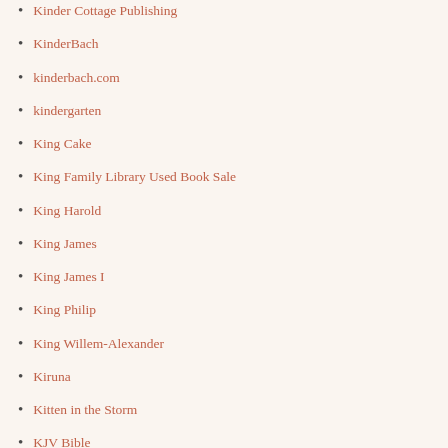Kinder Cottage Publishing
KinderBach
kinderbach.com
kindergarten
King Cake
King Family Library Used Book Sale
King Harold
King James
King James I
King Philip
King Willem-Alexander
Kiruna
Kitten in the Storm
KJV Bible
Knight of Asper
knights and samurai
knitting
Knoxville Area Homeschoolers